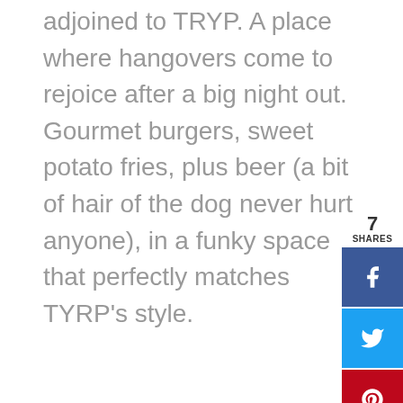adjoined to TRYP. A place where hangovers come to rejoice after a big night out. Gourmet burgers, sweet potato fries, plus beer (a bit of hair of the dog never hurt anyone), in a funky space that perfectly matches TYRP's style.
[Figure (other): Social share widget showing 7 SHARES with buttons for Facebook, Twitter, Pinterest, LinkedIn, and Email]